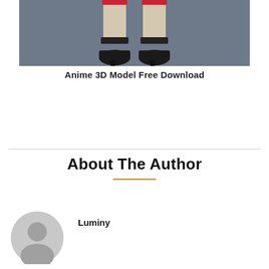[Figure (photo): 3D rendered anime character legs wearing beige stockings, black ankle straps and black shoes, with red garter details at the top, on a grey background]
Anime 3D Model Free Download
About The Author
[Figure (illustration): Generic grey user avatar icon showing a silhouette of a person's head and shoulders]
Luminy